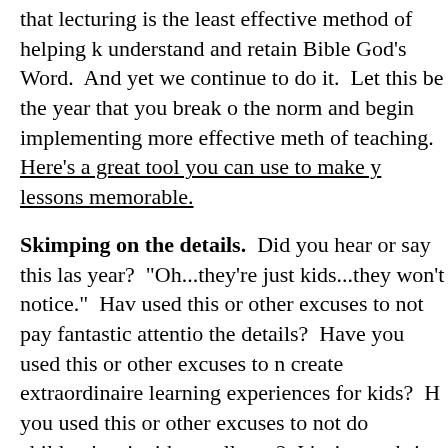that lecturing is the least effective method of helping k understand and retain Bible God's Word. And yet we continue to do it. Let this be the year that you break o the norm and begin implementing more effective meth of teaching. Here's a great tool you can use to make y lessons memorable.
Skimping on the details. Did you hear or say this las year? "Oh...they're just kids...they won't notice." Hav used this or other excuses to not pay fantastic attentio the details? Have you used this or other excuses to n create extraordinaire learning experiences for kids? H you used this or other excuses to not do children's mi with excellence? It's time to bring in the Tiki Bird. Rea about it here.
On be all to often H b t b d